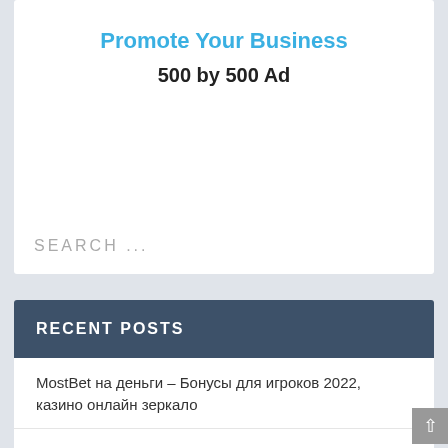[Figure (other): Advertisement box with text 'Promote Your Business' in blue and '500 by 500 Ad' in bold black]
SEARCH ...
RECENT POSTS
MostBet на деньги – Бонусы для игроков 2022, казино онлайн зеркало
What exactly is the most appropriate cost free scan software
How does someone mail a fax with out a